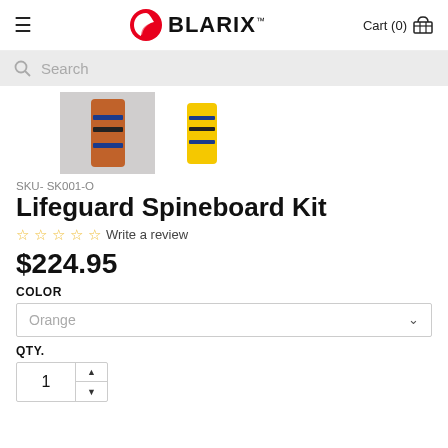BLARIX™  Cart (0)
Search
[Figure (photo): Two spineboard kits shown from above — one orange with blue and black straps on a grey background, one yellow with blue and black straps on a white background]
SKU- SK001-O
Lifeguard Spineboard Kit
☆ ☆ ☆ ☆ ☆ Write a review
$224.95
COLOR
Orange
QTY.
1